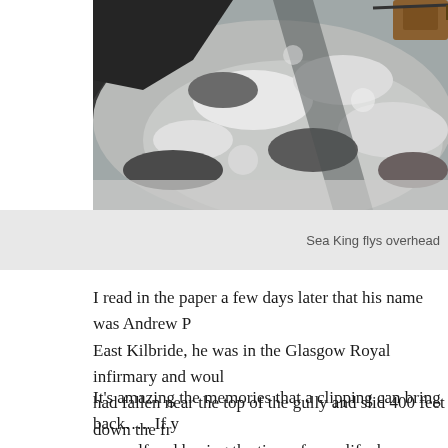[Figure (photo): Aerial or close-up view of a rocky, snow-covered mountain slope or gully, with a partial view of a helicopter (Sea King) in the upper right corner.]
Sea King flys overhead
I read in the paper a few days later that his name was Andrew P... East Kilbride, he was in the Glasgow Royal infirmary and woul... had fallen near the top of the gully and slid 400 feet down the fr... jammed in the rocks just 20 feet from a sheer 500 foot drop.. As... VERY lucky…  If anyone reading this knows Andrew , say Hi f...
It's amazing the memories that a clipping can bring back….. If y... yourself and having the time of your life, keep some memoirs, i...